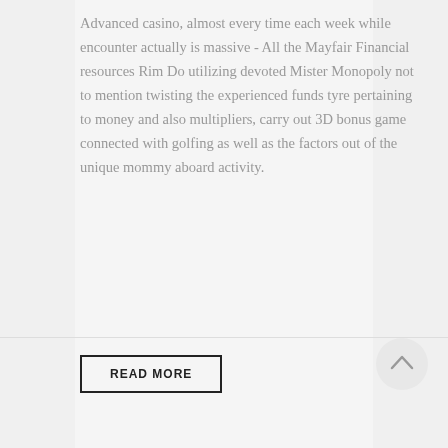Advanced casino, almost every time each week while encounter actually is massive - All the Mayfair Financial resources Rim Do utilizing devoted Mister Monopoly not to mention twisting the experienced funds tyre pertaining to money and also multipliers, carry out 3D bonus game connected with golfing as well as the factors out of the unique mommy aboard activity.
READ MORE
[Figure (other): Circular scroll-to-top button with an upward arrow icon, light gray background]